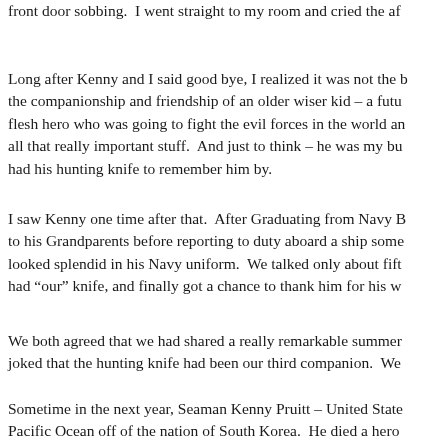front door sobbing.  I went straight to my room and cried the af
Long after Kenny and I said good bye, I realized it was not the b the companionship and friendship of an older wiser kid – a futu flesh hero who was going to fight the evil forces in the world an all that really important stuff.  And just to think – he was my bu had his hunting knife to remember him by.
I saw Kenny one time after that.  After Graduating from Navy B to his Grandparents before reporting to duty aboard a ship some looked splendid in his Navy uniform.  We talked only about fift had "our" knife, and finally got a chance to thank him for his w
We both agreed that we had shared a really remarkable summer joked that the hunting knife had been our third companion.  We
Sometime in the next year, Seaman Kenny Pruitt – United State Pacific Ocean off of the nation of South Korea.  He died a hero